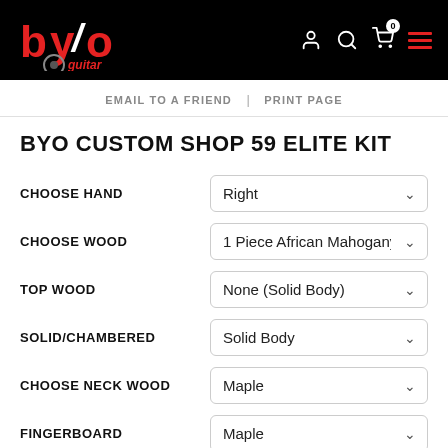[Figure (logo): BYO Guitar logo on black header background with navigation icons (user, search, cart with 0 badge, hamburger menu)]
EMAIL TO A FRIEND | PRINT PAGE
BYO CUSTOM SHOP 59 ELITE KIT
CHOOSE HAND: Right
CHOOSE WOOD: 1 Piece African Mahogany
TOP WOOD: None (Solid Body)
SOLID/CHAMBERED: Solid Body
CHOOSE NECK WOOD: Maple
FINGERBOARD: Maple